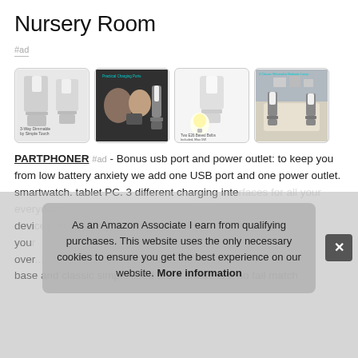Nursery Room
#ad
[Figure (photo): Four product images of bedside/table lamps shown side by side in a row]
PARTPHONER #ad - Bonus usb port and power outlet: to keep you from low battery anxiety we add one USB port and one power outlet. smartwatch. tablet PC. 3 different charging interfaces for all your everyday devices, to ensure you and your family maintain over... base and classic simple lined drum shade is a no fail match
As an Amazon Associate I earn from qualifying purchases. This website uses the only necessary cookies to ensure you get the best experience on our website. More information